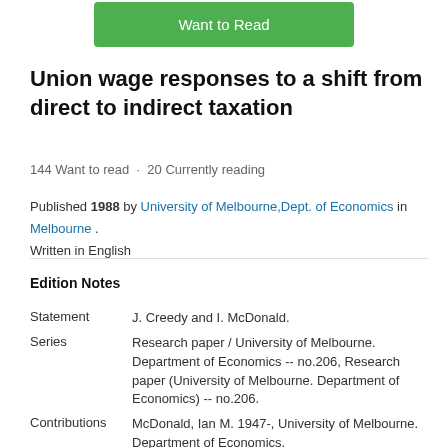[Figure (other): Green 'Want to Read' button at top center]
Union wage responses to a shift from direct to indirect taxation
144 Want to read · 20 Currently reading
Published 1988 by University of Melbourne,Dept. of Economics in Melbourne . Written in English
Edition Notes
| Field | Value |
| --- | --- |
| Statement | J. Creedy and I. McDonald. |
| Series | Research paper / University of Melbourne. Department of Economics -- no.206, Research paper (University of Melbourne. Department of Economics) -- no.206. |
| Contributions | McDonald, Ian M. 1947-, University of Melbourne. Department of Economics. |